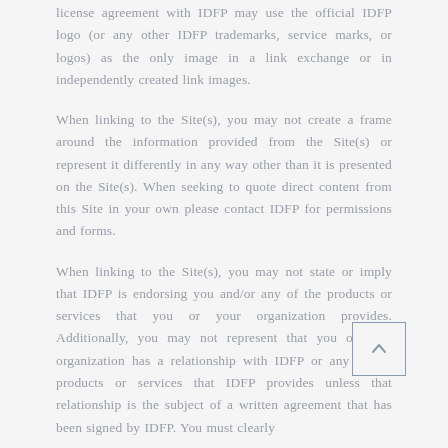license agreement with IDFP may use the official IDFP logo (or any other IDFP trademarks, service marks, or logos) as the only image in a link exchange or in independently created link images.
When linking to the Site(s), you may not create a frame around the information provided from the Site(s) or represent it differently in any way other than it is presented on the Site(s). When seeking to quote direct content from this Site in your own please contact IDFP for permissions and forms.
When linking to the Site(s), you may not state or imply that IDFP is endorsing you and/or any of the products or services that you or your organization provides. Additionally, you may not represent that you or your organization has a relationship with IDFP or any of the products or services that IDFP provides unless that relationship is the subject of a written agreement that has been signed by IDFP. You must clearly